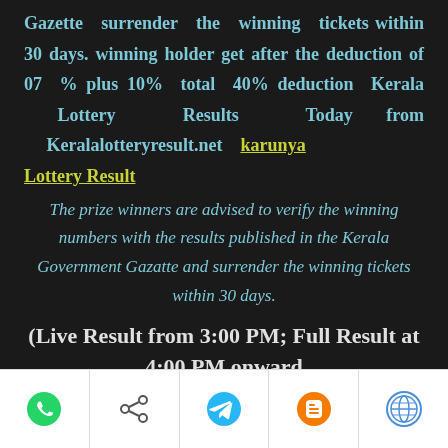Gazette surrender the winning tickets within 30 days. winning holder get after the deduction of 07 % plus 10% total 40% deduction Kerala Lottery Results Today from Keralalotteryresult.net karunya Lottery Result
The prize winners are advised to verify the winning numbers with the results published in the Kerala Government Gazatte and surrender the winning tickets within 30 days.
(Live Result from 3:00 PM; Full Result at 4:00 PM onward
[social share icons: WhatsApp, Share, Telegram, Blogger, WordPress]